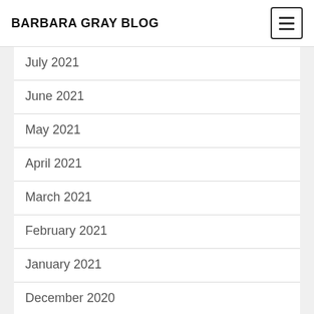BARBARA GRAY BLOG
July 2021
June 2021
May 2021
April 2021
March 2021
February 2021
January 2021
December 2020
November 2020
October 2020